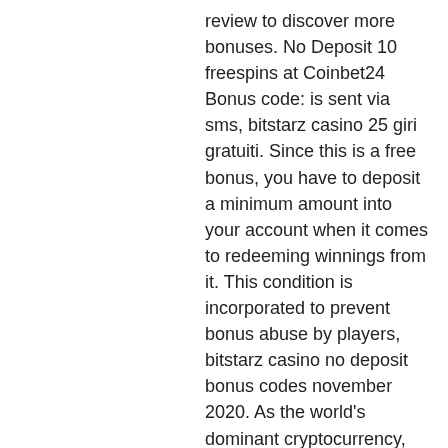review to discover more bonuses. No Deposit 10 freespins at Coinbet24 Bonus code: is sent via sms, bitstarz casino 25 giri gratuiti. Since this is a free bonus, you have to deposit a minimum amount into your account when it comes to redeeming winnings from it. This condition is incorporated to prevent bonus abuse by players, bitstarz casino no deposit bonus codes november 2020. As the world's dominant cryptocurrency, Bitcoin is an electronic cash payment system that allows for peer to peer digital currency transactions. Bitcoin Casino US posts honest reviews of the web's best Bitcoin casinos for USA players, bitstarz фриспины. Create an account and sign in, bitstarz ei talletusbonusta codes for existing users. Otherwise, you won't be able to make deposits. No deposit bonuses are usually much smaller than traditional welcome